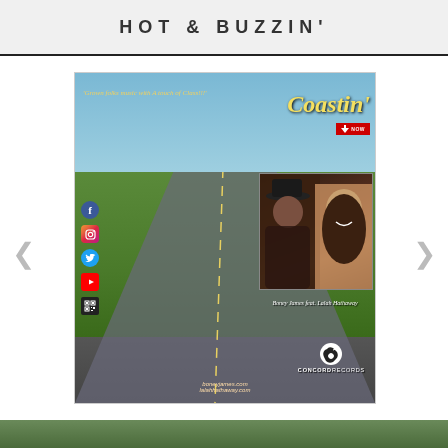HOT & BUZZIN'
[Figure (photo): Album promotional image for 'Coastin'' by Boney James feat. Lalah Hathaway on Concord Records. A scenic coastal road landscape with green hills and blue sky. Text overlay reads 'Grown folks music with a touch of Class!!!' and 'Coastin'' in yellow/gold italic script. Social media icons (Facebook, Instagram, Twitter, YouTube) on the left side. An inset photo of two artists (a man in a hat and a woman). Concord Records logo with TikTok icon in lower right. Website URLs at bottom. Download Now badge in red.]
Boney James feat. Lalah Hathaway — Coastin' (Concord Records)